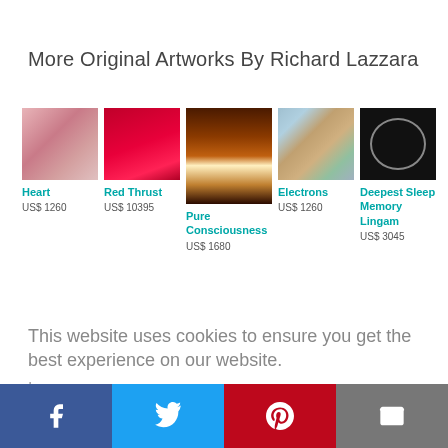More Original Artworks By Richard Lazzara
[Figure (photo): Artwork thumbnail: Heart]
Heart
US$ 1260
[Figure (photo): Artwork thumbnail: Red Thrust]
Red Thrust
US$ 10395
[Figure (photo): Artwork thumbnail: Pure Consciousness]
Pure Consciousness
US$ 1680
[Figure (photo): Artwork thumbnail: Electrons]
Electrons
US$ 1260
[Figure (photo): Artwork thumbnail: Deepest Sleep Memory Lingam]
Deepest Sleep Memory Lingam
US$ 3045
This website uses cookies to ensure you get the best experience on our website.
Learn more
[X] Got it!